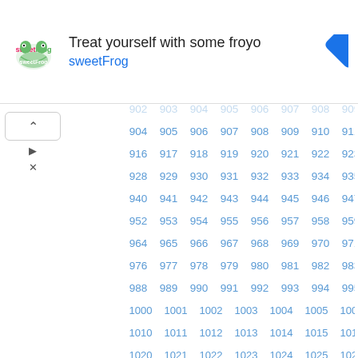[Figure (infographic): SweetFrog froyo advertisement banner with logo, title 'Treat yourself with some froyo', subtitle 'sweetFrog', and navigation arrow icon]
902 903 904 905 906 907 908 909 910 911 912 913 914 915 916 917 918 919 920 921 922 923 924 925 926 927 928 929 930 931 932 933 934 935 936 937 938 939 940 941 942 943 944 945 946 947 948 949 950 951 952 953 954 955 956 957 958 959 960 961 962 963 964 965 966 967 968 969 970 971 972 973 974 975 976 977 978 979 980 981 982 983 984 985 986 987 988 989 990 991 992 993 994 995 996 997 998 999 1000 1001 1002 1003 1004 1005 1006 1007 1008 1009 1010 1011 1012 1013 1014 1015 1016 1017 1018 1019 1020 1021 1022 1023 1024 1025 1026 1027 1028 1029 1030 1031 1032 1033 1034 1035 1036 1037 1038 1039 1040 1041 1042 1043 1044 1045 1046 1047 1048 1049 1050 1051 1052 1053 1054 1055 1056 1057 1058 1059 1060 1061 1062 1063 1064 1065 1066 1067 1068 1069 1070 1071 1072 1073 1074 1075 1076 1077 1078 1079 1080 1081 1082 1083 1084 1085 1086 1087 1088 1089